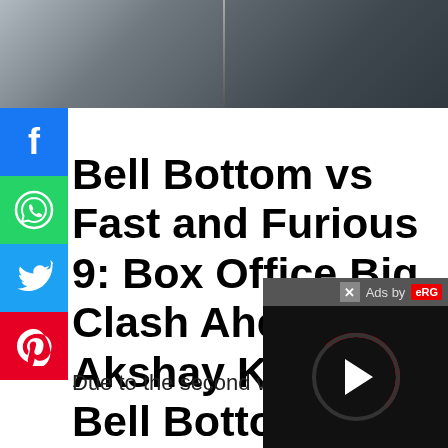[Figure (photo): Top banner image showing people near cars, split into two panels]
Bell Bottom vs Fast and Furious 9: Box Office Big Clash Ahead Akshay Kumar's Bell Bottom to fight with Fast and Furious 9 in theater
Due to the second wave of Coro
[Figure (other): Ad overlay with play button and 'Ads by' label with red logo, close button X in top corner]